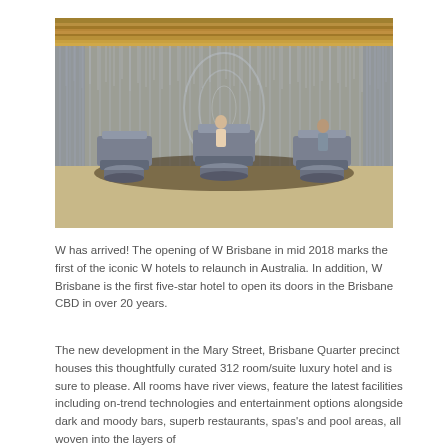[Figure (photo): Interior lobby of W Brisbane hotel showing three circular metallic reception desks with staff members, a shimmering metallic curtain wall backdrop, wooden ceiling with hanging light elements, and polished stone floor.]
W has arrived! The opening of W Brisbane in mid 2018 marks the first of the iconic W hotels to relaunch in Australia. In addition, W Brisbane is the first five-star hotel to open its doors in the Brisbane CBD in over 20 years.
The new development in the Mary Street, Brisbane Quarter precinct houses this thoughtfully curated 312 room/suite luxury hotel and is sure to please. All rooms have river views, feature the latest facilities including on-trend technologies and entertainment options alongside dark and moody bars, superb restaurants, spas's and pool areas, all woven into the layers of